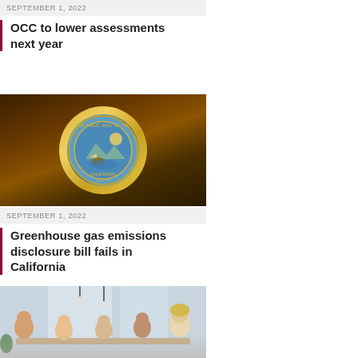SEPTEMBER 1, 2022
OCC to lower assessments next year
[Figure (photo): California state seal stained glass window]
SEPTEMBER 1, 2022
Greenhouse gas emissions disclosure bill fails in California
[Figure (photo): Business meeting around a table with multiple people]